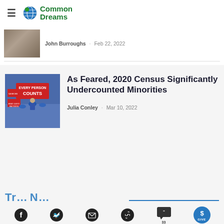Common Dreams
[Figure (photo): Thumbnail image above article by John Burroughs]
John Burroughs · Feb 22, 2022
As Feared, 2020 Census Significantly Undercounted Minorities
[Figure (photo): People holding signs reading EVERY PERSON COUNTS at a census rally]
Julia Conley · Mar 10, 2022
Trending News...
[Figure (infographic): Social sharing bar with Facebook, Twitter, email, link, comments (33), and GIVE button]